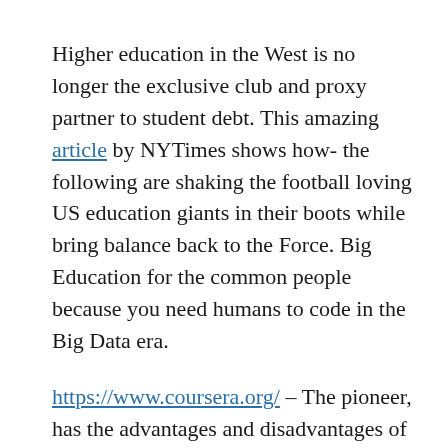Higher education in the West is no longer the exclusive club and proxy partner to student debt. This amazing article by NYTimes shows how- the following are shaking the football loving US education giants in their boots while bring balance back to the Force. Big Education for the common people because you need humans to code in the Big Data era.
https://www.coursera.org/ – The pioneer, has the advantages and disadvantages of being the market leader in an innovating. Sure 1.7 million users, but how many are attending how many lectures and how many newly skilled machine learning people are there after 2 courses have